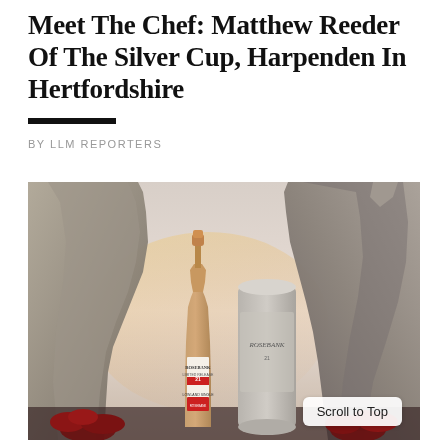Meet The Chef: Matthew Reeder Of The Silver Cup, Harpenden In Hertfordshire
BY LLM REPORTERS
[Figure (photo): A bottle of Rosebank whisky and its cylindrical tin, displayed in front of two large stone animal sculptures (possibly horses or hares), with red flowers at the base, against a softly lit background.]
Scroll to Top